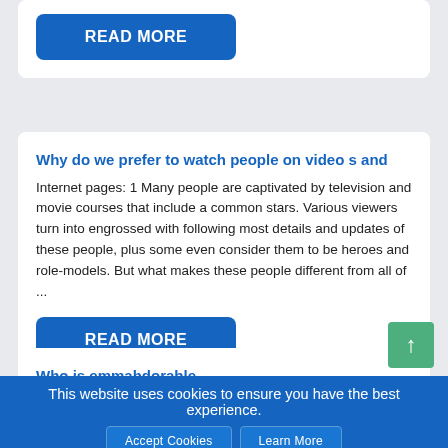[Figure (other): READ MORE button (blue rounded rectangle) at top of page, partial card visible]
Why do we prefer to watch people on video s and
Internet pages: 1 Many people are captivated by television and movie courses that include a common stars. Various viewers turn into engrossed with following most details and updates of these people, plus some even consider them to be heroes and role-models. But what makes these people different from all of ...
[Figure (other): READ MORE button (blue rounded rectangle)]
Who is emmahdorable
Cyber, Actors Many on-line hosts utilize the Twitch, the live streaming video platform to broadcast many activities including video games, eSports competitions, creative contents, in real lifestreams, as well as music. Emmahdorable provides, however , located a niche on the site by posting video games and has risen up to ...
This website uses cookies to ensure you have the best experience.